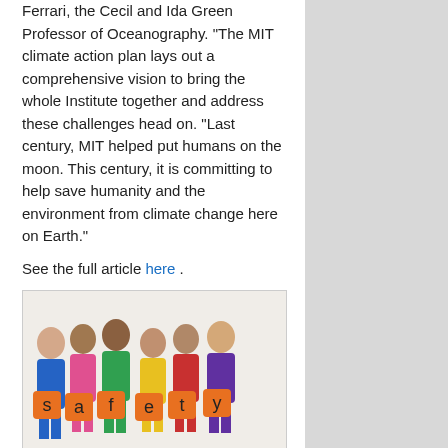Ferrari, the Cecil and Ida Green Professor of Oceanography. “The MIT climate action plan lays out a comprehensive vision to bring the whole Institute together and address these challenges head on. “Last century, MIT helped put humans on the moon. This century, it is committing to help save humanity and the environment from climate change here on Earth.”
See the full article here .
[Figure (photo): Group of six children of diverse backgrounds smiling and holding orange letter tiles spelling 'safety']
five-ways-keep-your-child-safe-school-shootings
Please help promote STEM in your local schools.
[Figure (logo): STEM education logos: green SDG-style icon, yellow plant/leaf icon, red gear/cog icon, blue pi symbol icon]